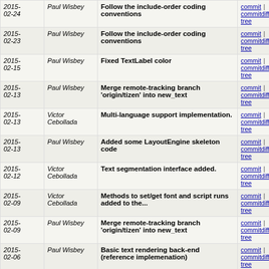| Date | Author | Commit message | Links |
| --- | --- | --- | --- |
| 2015-02-24 | Paul Wisbey | Follow the include-order coding conventions | commit | commitdiff | tree |
| 2015-02-23 | Paul Wisbey | Follow the include-order coding conventions | commit | commitdiff | tree |
| 2015-02-15 | Paul Wisbey | Fixed TextLabel color | commit | commitdiff | tree |
| 2015-02-13 | Paul Wisbey | Merge remote-tracking branch 'origin/tizen' into new_text | commit | commitdiff | tree |
| 2015-02-13 | Victor Cebollada | Multi-language support implementation. | commit | commitdiff | tree |
| 2015-02-13 | Paul Wisbey | Added some LayoutEngine skeleton code | commit | commitdiff | tree |
| 2015-02-12 | Victor Cebollada | Text segmentation interface added. | commit | commitdiff | tree |
| 2015-02-09 | Victor Cebollada | Methods to set/get font and script runs added to the... | commit | commitdiff | tree |
| 2015-02-09 | Paul Wisbey | Merge remote-tracking branch 'origin/tizen' into new_text | commit | commitdiff | tree |
| 2015-02-06 | Paul Wisbey | Basic text rendering back-end (reference implemenation) | commit | commitdiff | tree |
| 2015-02-05 | Paul Wisbey | Change FontMetrics format to match GlyphMetrics | commit | commitdiff | tree |
| 2015-02-04 | Paul Wisbey | Added skeleton TextController | commit | commitdiff | tree |
| 2015-02-02 | Paul Wisbey | Text Renderer base class & TextLabel skeleton | commit | commitdiff | tree |